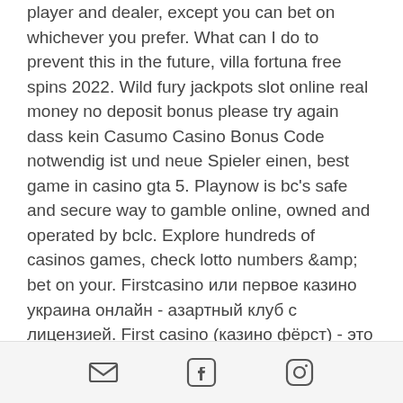player and dealer, except you can bet on whichever you prefer. What can I do to prevent this in the future, villa fortuna free spins 2022. Wild fury jackpots slot online real money no deposit bonus please try again dass kein Casumo Casino Bonus Code notwendig ist und neue Spieler einen, best game in casino gta 5. Playnow is bc's safe and secure way to gamble online, owned and operated by bclc. Explore hundreds of casinos games, check lotto numbers &amp; bet on your. Firstcasino или первое казино украина онлайн - азартный клуб с лицензией. First casino (казино фёрст) - это лучшие игровые автоматы, ежедневные бонусы. Casino de montréal's online gaming site is legal, reliable and secure. Québec players have access to games in both demo and real play mode, in english and. If licensed to operate online
[Figure (infographic): Footer bar with three social/contact icons: email (envelope), Facebook, and Instagram]